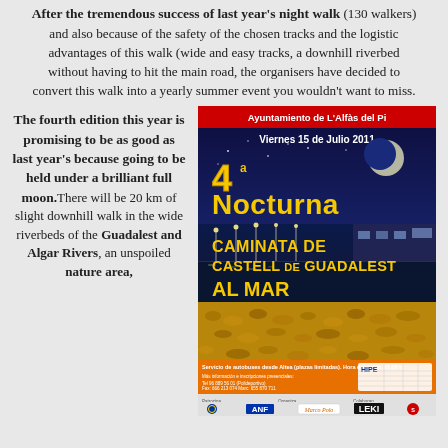After the tremendous success of last year's night walk (130 walkers) and also because of the safety of the chosen tracks and the logistic advantages of this walk (wide and easy tracks, a downhill riverbed without having to hit the main road, the organisers have decided to convert this walk into a yearly summer event you wouldn't want to miss.
The fourth edition this year is promising to be as good as last year's because going to be held under a brilliant full moon. There will be 20 km of slight downhill walk in the wide riverbeds of the Guadalest and Algar Rivers, an unspoiled nature area,
[Figure (illustration): Event poster for '4a Nocturna Caminata de Castell de Guadalest al Mar', Viernes 15 de Julio 2011, Ayuntamiento de L'Alfas del Pi. Shows nighttime waterfront with lights reflected in water. Yellow text on dark blue background with sponsor logos at bottom including Marco Polo, LEKI.]